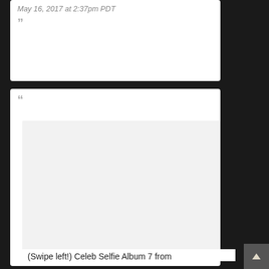May 16, 2017 at 2:37pm PDT
”
“
[Figure (photo): Light gray placeholder image box, approximately square, within a white card with an open quotation mark at top.]
(Swipe left!) Celeb Selfie Album 7 from